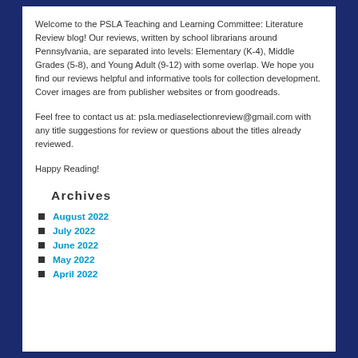Welcome to the PSLA Teaching and Learning Committee: Literature Review blog! Our reviews, written by school librarians around Pennsylvania, are separated into levels: Elementary (K-4), Middle Grades (5-8), and Young Adult (9-12) with some overlap. We hope you find our reviews helpful and informative tools for collection development. Cover images are from publisher websites or from goodreads.
Feel free to contact us at: psla.mediaselectionreview@gmail.com with any title suggestions for review or questions about the titles already reviewed.
Happy Reading!
Archives
August 2022
July 2022
June 2022
May 2022
April 2022